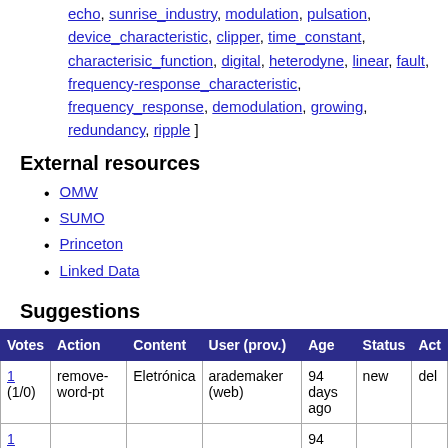echo, sunrise_industry, modulation, pulsation, device_characteristic, clipper, time_constant, characterisic_function, digital, heterodyne, linear, fault, frequency-response_characteristic, frequency_response, demodulation, growing, redundancy, ripple ]
External resources
OMW
SUMO
Princeton
Linked Data
Suggestions
| Votes | Action | Content | User (prov.) | Age | Status | Act |
| --- | --- | --- | --- | --- | --- | --- |
| 1 (1/0) | remove-word-pt | Eletrónica | arademaker (web) | 94 days ago | new | del |
| 1 | ... | ... | ... | 94 |  |  |